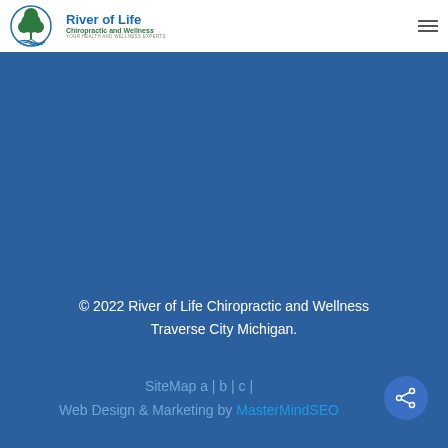River of Life Chiropractic and Wellness
© 2022 River of Life Chiropractic and Wellness Traverse City Michigan.
SiteMap a | b | c |
Web Design & Marketing by MasterMindSEO